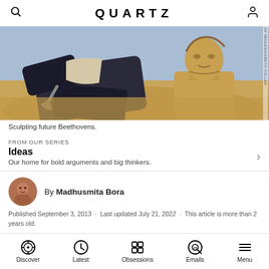QUARTZ
[Figure (photo): A person carving a sand sculpture bust resembling Beethoven outdoors on a sandy surface, with tools nearby.]
Sculpting future Beethovens.
FROM OUR SERIES
Ideas
Our home for bold arguments and big thinkers.
By Madhusmita Bora
Published September 3, 2013 · Last updated July 21, 2022 · This article is more than 2 years old.
Discover  Latest  Obsessions  Emails  Menu